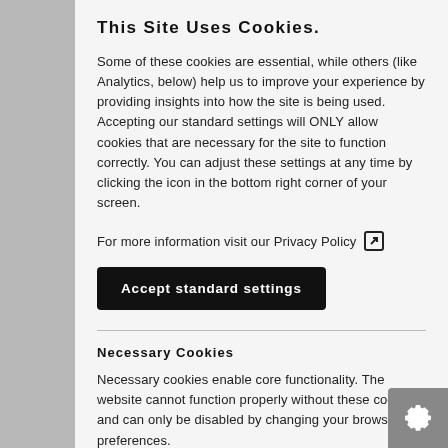This Site Uses Cookies.
Some of these cookies are essential, while others (like Analytics, below) help us to improve your experience by providing insights into how the site is being used. Accepting our standard settings will ONLY allow cookies that are necessary for the site to function correctly. You can adjust these settings at any time by clicking the icon in the bottom right corner of your screen.
For more information visit our Privacy Policy [external link icon]
Accept standard settings
Necessary Cookies
Necessary cookies enable core functionality. The website cannot function properly without these cookies, and can only be disabled by changing your browser preferences.